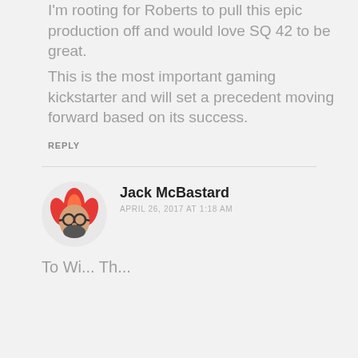I'm rooting for Roberts to pull this epic production off and would love SQ 42 to be great. This is the most important gaming kickstarter and will set a precedent moving forward based on its success.
REPLY
Jack McBastard
APRIL 26, 2017 AT 1:18 AM
To Wi... Th...